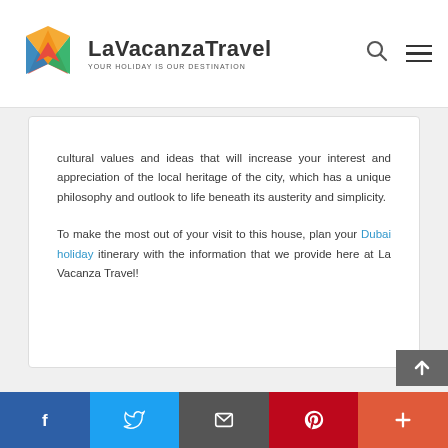LaVacanzaTravel — YOUR HOLIDAY IS OUR DESTINATION
cultural values and ideas that will increase your interest and appreciation of the local heritage of the city, which has a unique philosophy and outlook to life beneath its austerity and simplicity.
To make the most out of your visit to this house, plan your Dubai holiday itinerary with the information that we provide here at La Vacanza Travel!
Facebook | Twitter | Email | Pinterest | Plus